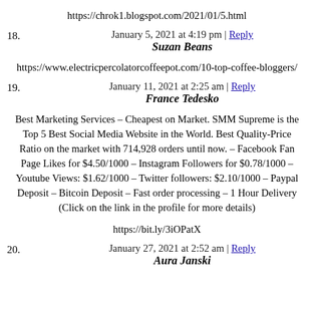https://chrok1.blogspot.com/2021/01/5.html
January 5, 2021 at 4:19 pm | Reply
18. Suzan Beans
https://www.electricpercolatorcoffeepot.com/10-top-coffee-bloggers/
January 11, 2021 at 2:25 am | Reply
19. France Tedesko
Best Marketing Services – Cheapest on Market. SMM Supreme is the Top 5 Best Social Media Website in the World. Best Quality-Price Ratio on the market with 714,928 orders until now. – Facebook Fan Page Likes for $4.50/1000 – Instagram Followers for $0.78/1000 – Youtube Views: $1.62/1000 – Twitter followers: $2.10/1000 – Paypal Deposit – Bitcoin Deposit – Fast order processing – 1 Hour Delivery (Click on the link in the profile for more details)
https://bit.ly/3iOPatX
January 27, 2021 at 2:52 am | Reply
20. Aura Janski